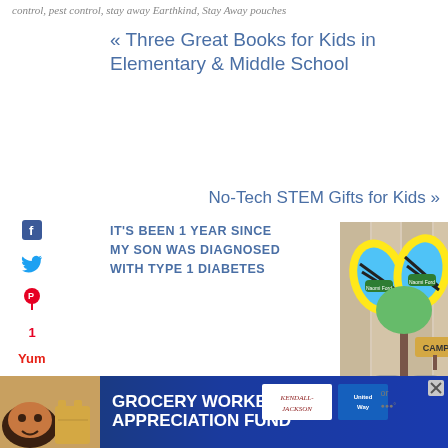control, pest control, stay away Earthkind, Stay Away pouches
« Three Great Books for Kids in Elementary & Middle School
No-Tech STEM Gifts for Kids »
[Figure (photo): Photo of a smiling boy wearing glasses giving thumbs up at a restaurant table]
[Figure (photo): Camp gear flat lay with labeled flip flops, sunglasses, a white item, and sneakers on a wooden background with a camp sign]
IT'S BEEN 1 YEAR SINCE MY SON WAS DIAGNOSED WITH TYPE 1 DIABETES
1
SHARES
GROCERY WORKER'S APPRECIATION FUND